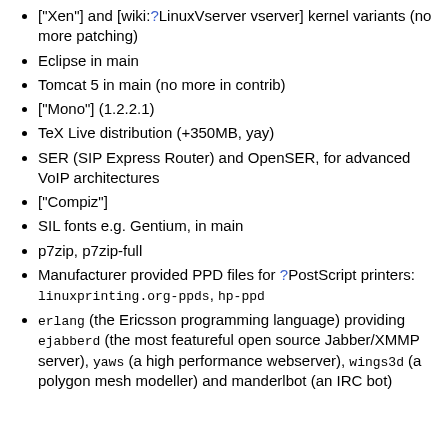["Xen"] and [wiki:?LinuxVserver vserver] kernel variants (no more patching)
Eclipse in main
Tomcat 5 in main (no more in contrib)
["Mono"] (1.2.2.1)
TeX Live distribution (+350MB, yay)
SER (SIP Express Router) and OpenSER, for advanced VoIP architectures
["Compiz"]
SIL fonts e.g. Gentium, in main
p7zip, p7zip-full
Manufacturer provided PPD files for ?PostScript printers: linuxprinting.org-ppds, hp-ppd
erlang (the Ericsson programming language) providing ejabberd (the most featureful open source Jabber/XMMP server), yaws (a high performance webserver), wings3d (a polygon mesh modeller) and manderlbot (an IRC bot)